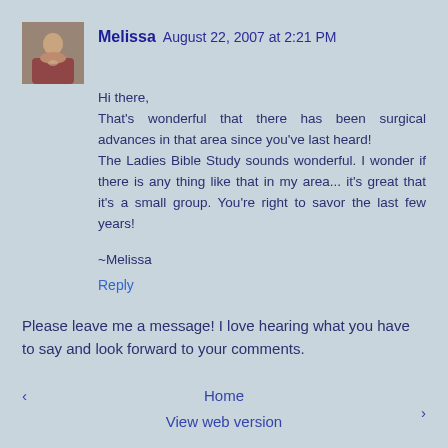[Figure (photo): Small square avatar photo of a person outdoors]
Melissa  August 22, 2007 at 2:21 PM
Hi there,
That's wonderful that there has been surgical advances in that area since you've last heard!
The Ladies Bible Study sounds wonderful. I wonder if there is any thing like that in my area... it's great that it's a small group. You're right to savor the last few years!

~Melissa
Reply
Please leave me a message! I love hearing what you have to say and look forward to your comments.
‹    Home    ›
View web version